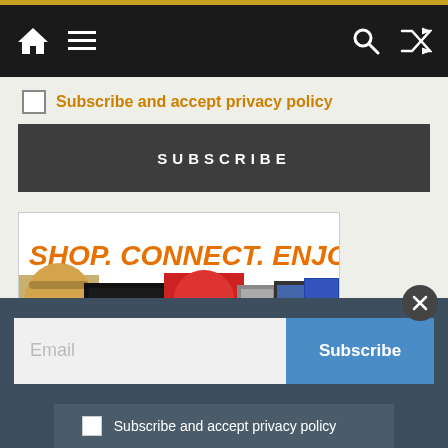Navigation bar with home, menu, search, and shuffle icons
Subscribe and accept privacy policy
SUBSCRIBE
[Figure (illustration): Advertisement banner with text 'SHOP. CONNECT. ENJOY.' in orange bold italic, with product images including a handbag, gaming console, kitchen mixer, tablet, books, and movie covers below]
Email
Subscribe
Subscribe and accept privacy policy